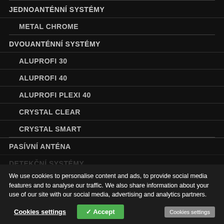JEDNOANTÉNNÍ SYSTÉMY
METAL CHROME
DVOUANTÉNNÍ SYSTÉMY
ALUPROFI 30
ALUPROFI 40
ALUPROFI PLEXI 40
CRYSTAL CLEAR
CRYSTAL SMART
PASÍVNÍ ANTÉNA
DETEKČNÍ SYSTÉMY
METALSPY
METALSPY AIRE
We use cookies to personalise content and ads, to provide social media features and to analyse our traffic. We also share information about your use of our site with our social media, advertising and analytics partners.
Cookies settings   ✓ Accept   Cookies settings